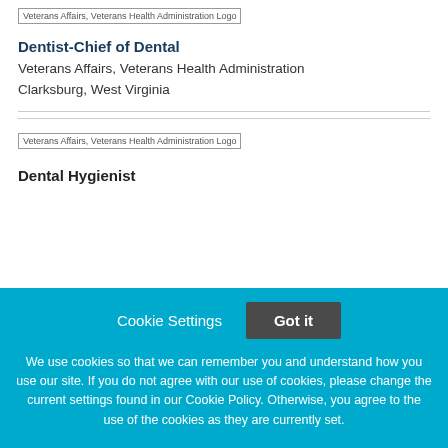[Figure (logo): Veterans Affairs, Veterans Health Administration Logo (top, partially visible)]
Dentist-Chief of Dental
Veterans Affairs, Veterans Health Administration
Clarksburg, West Virginia
[Figure (logo): Veterans Affairs, Veterans Health Administration Logo]
Dental Hygienist
Cookie Settings  Got it
We use cookies so that we can remember you and understand how you use our site. If you do not agree with our use of cookies, please change the current settings found in our Cookie Policy. Otherwise, you agree to the use of the cookies as they are currently set.